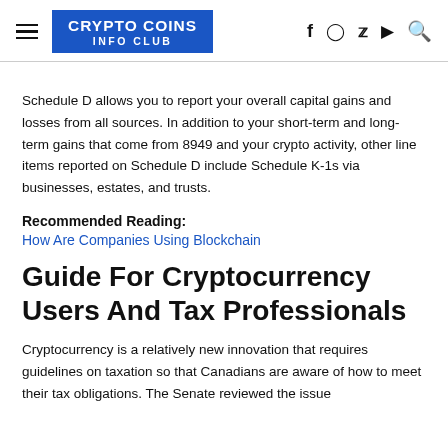CRYPTO COINS INFO CLUB
Schedule D allows you to report your overall capital gains and losses from all sources. In addition to your short-term and long-term gains that come from 8949 and your crypto activity, other line items reported on Schedule D include Schedule K-1s via businesses, estates, and trusts.
Recommended Reading:
How Are Companies Using Blockchain
Guide For Cryptocurrency Users And Tax Professionals
Cryptocurrency is a relatively new innovation that requires guidelines on taxation so that Canadians are aware of how to meet their tax obligations. The Senate reviewed the issue